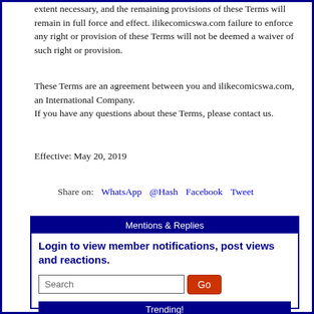extent necessary, and the remaining provisions of these Terms will remain in full force and effect. ilikecomicswa.com failure to enforce any right or provision of these Terms will not be deemed a waiver of such right or provision.
These Terms are an agreement between you and ilikecomicswa.com, an International Company. If you have any questions about these Terms, please contact us.
Effective: May 20, 2019
Share on:  WhatsApp  @Hash  Facebook  Tweet
Mentions & Replies
Login to view member notifications, post views and reactions.
Trending!
#StockMarketNews (401)